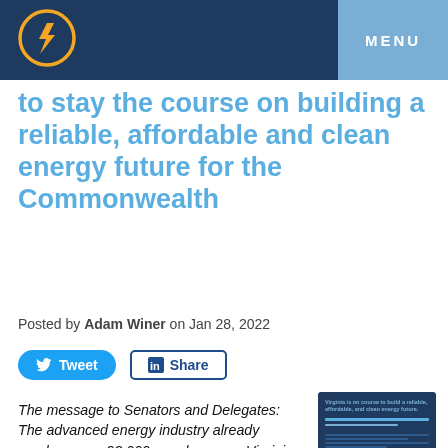MENU
to stay the course on building a reliable, affordable and clean energy future for the Commonwealth
Posted by Adam Winer on Jan 28, 2022
[Figure (screenshot): Tweet and Share social media buttons]
The message to Senators and Delegates: The advanced energy industry already employs over 93,000 people across Virginia, and the General Assembly's new policies,
[Figure (photo): Small thumbnail image of a blue document page]